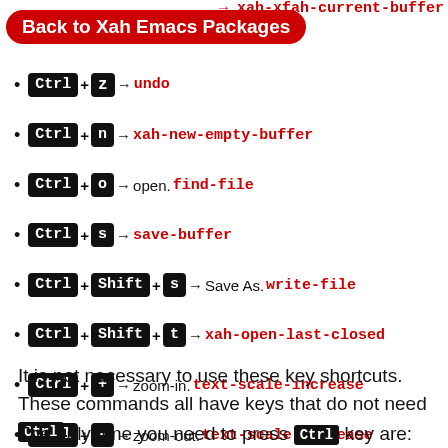… → xah-xfah-current-buffer
Back to Xah Emacs Packages
Ctrl+z → undo
Ctrl+n → xah-new-empty-buffer
Ctrl+o → open. find-file
Ctrl+s → save-buffer
Ctrl+Shift+s → Save As. write-file
Ctrl+Shift+t → xah-open-last-closed
Ctrl++ → zoom-in. text-scale-increase
Ctrl+- → zoom-out. text-scale-decrease
It is not necessary to use these key shortcuts. These commands all have keys that do not need Ctrl.
The only time you need to press Ctrl key are: